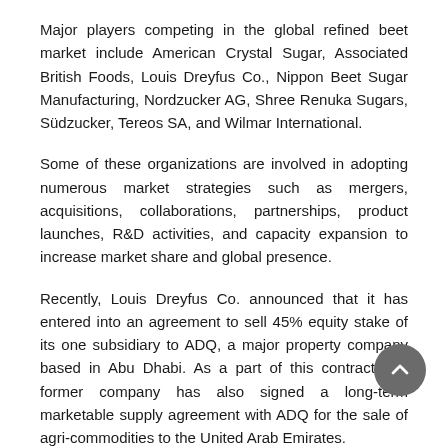Major players competing in the global refined beet market include American Crystal Sugar, Associated British Foods, Louis Dreyfus Co., Nippon Beet Sugar Manufacturing, Nordzucker AG, Shree Renuka Sugars, Südzucker, Tereos SA, and Wilmar International.
Some of these organizations are involved in adopting numerous market strategies such as mergers, acquisitions, collaborations, partnerships, product launches, R&D activities, and capacity expansion to increase market share and global presence.
Recently, Louis Dreyfus Co. announced that it has entered into an agreement to sell 45% equity stake of its one subsidiary to ADQ, a major property company based in Abu Dhabi. As a part of this contract, the former company has also signed a long-term marketable supply agreement with ADQ for the sale of agri-commodities to the United Arab Emirates.
Lately, a Germany-based Südzucker, one of the major